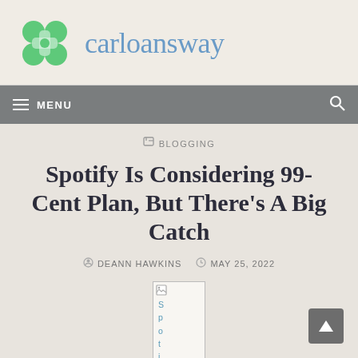carloansway
MENU
BLOGGING
Spotify Is Considering 99-Cent Plan, But There's A Big Catch
DEANN HAWKINS   MAY 25, 2022
[Figure (photo): Broken image placeholder showing vertical text spelling out 'Spotify']